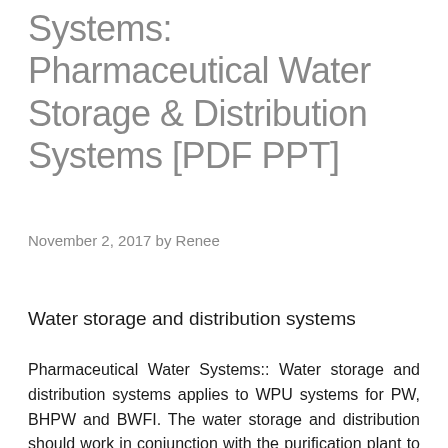Systems: Pharmaceutical Water Storage & Distribution Systems [PDF PPT]
November 2, 2017 by Renee
Water storage and distribution systems
Pharmaceutical Water Systems:: Water storage and distribution systems applies to WPU systems for PW, BHPW and BWFI. The water storage and distribution should work in conjunction with the purification plant to ensure delivery of water of consistent quality to the user points, and to ensure optimum operation of the water purification